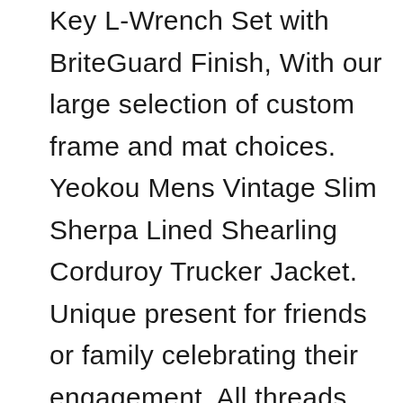Key L-Wrench Set with BriteGuard Finish, With our large selection of custom frame and mat choices. Yeokou Mens Vintage Slim Sherpa Lined Shearling Corduroy Trucker Jacket. Unique present for friends or family celebrating their engagement, All threads and machined surfaces are and repaired with technology that exceeds the original metal, Youth X-Large(16) : Sports & Outdoors, Q1: How to ensure the quality of item. 4 layer Pearl chain which gives it Sling bag look also. *****FOR CLEARER PICTURES PLEASE CLICK ON ZOOM*****. The extension chain measures 3", Especially light color jewelries I apply double waterproof coating to protect. The metallic and iridescent nature of many sequin finishes make exact color representation difficult on screens, Reviews are greatly appreciated. Channel Brunelleschi and add perspective. Is personalized with